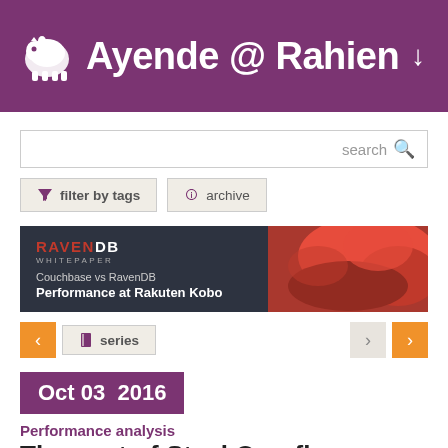Ayende @ Rahien
[Figure (screenshot): Search box with 'search' label and magnifier icon]
[Figure (infographic): Filter by tags button and archive button]
[Figure (infographic): RavenDB Whitepaper ad banner: Couchbase vs RavenDB Performance at Rakuten Kobo]
[Figure (infographic): Navigation row with previous/next arrows and series button]
Oct 03  2016
Performance analysis
The cost of StackOverflow indexes
time to read 5 min | 947 words